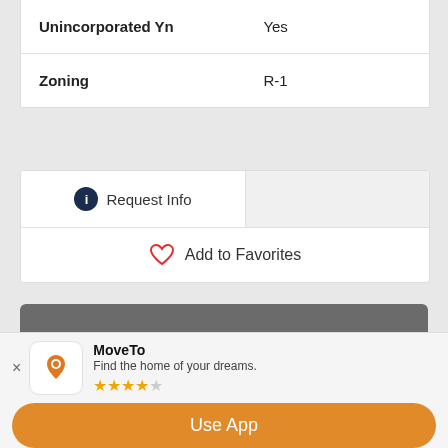| Field | Value |
| --- | --- |
| Unincorporated Yn | Yes |
| Zoning | R-1 |
Request Info
Add to Favorites
How much has your home appreciated in value?

...get instant property value now!
MoveTo
Find the home of your dreams.
Use App